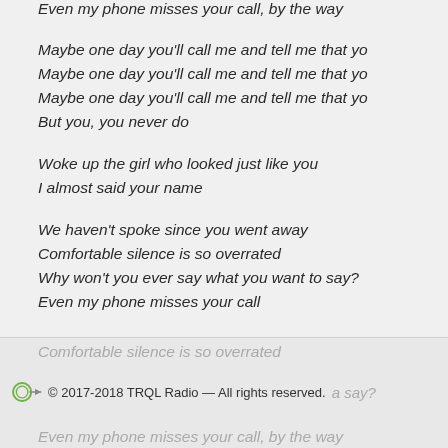Even my phone misses your call, by the way
Maybe one day you'll call me and tell me that yo
Maybe one day you'll call me and tell me that yo
Maybe one day you'll call me and tell me that yo
But you, you never do

Woke up the girl who looked just like you
I almost said your name

We haven't spoke since you went away
Comfortable silence is so overrated
Why won't you ever say what you want to say?
Even my phone misses your call

We haven't spoke since you went away
Comfortable silence is so overrated
© 2017-2018 TRQL Radio — All rights reserved.
Even my phone misses your call, by the way